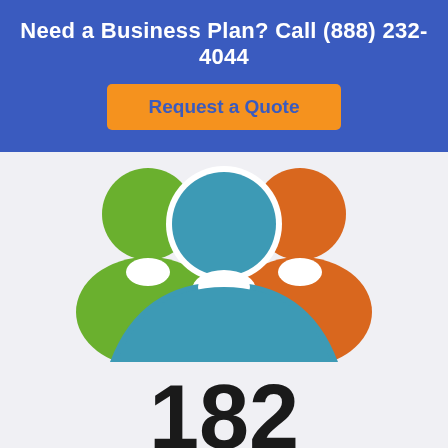Need a Business Plan? Call (888) 232-4044
Request a Quote
[Figure (illustration): Three colorful person/user icons: a green figure on the left, a central blue figure in the foreground, and an orange figure on the right, representing a group of clients.]
182
SATISFIED CLIENTS